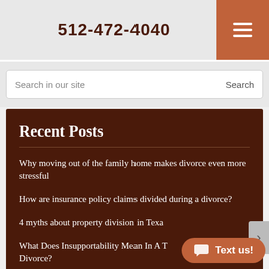512-472-4040
Search in our site
Recent Posts
Why moving out of the family home makes divorce even more stressful
How are insurance policy claims divided during a divorce?
4 myths about property division in Texas
What Does Insupportability Mean In A Texas Divorce?